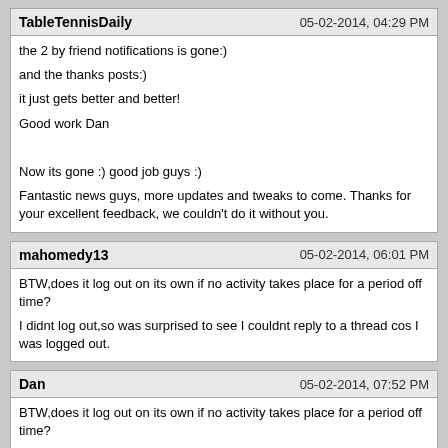TableTennisDaily | 05-02-2014, 04:29 PM
the 2 by friend notifications is gone:)

and the thanks posts:)

it just gets better and better!

Good work Dan

Now its gone :) good job guys :)

Fantastic news guys, more updates and tweaks to come. Thanks for your excellent feedback, we couldn't do it without you.
mahomedy13 | 05-02-2014, 06:01 PM
BTW,does it log out on its own if no activity takes place for a period off time?

I didnt log out,so was surprised to see I couldnt reply to a thread cos I was logged out.
Dan | 05-02-2014, 07:52 PM
BTW,does it log out on its own if no activity takes place for a period off time?

I didnt log out,so was surprised to see I couldnt reply to a thread cos I was logged out.

We have been working on this known issue. We think it has been resloved can you let us know if you get logged out again please

Sent from my GT-I9195 using Tapatalk